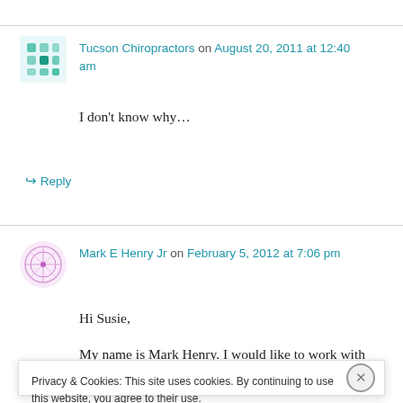Tucson Chiropractors on August 20, 2011 at 12:40 am
I don't know why…
↪ Reply
Mark E Henry Jr on February 5, 2012 at 7:06 pm
Hi Susie,
My name is Mark Henry. I would like to work with
Privacy & Cookies: This site uses cookies. By continuing to use this website, you agree to their use. To find out more, including how to control cookies, see here: Cookie Policy
Close and accept